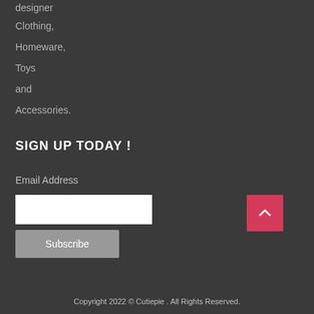designer
Clothing,
Homeware,
Toys
and
Accessories.
SIGN UP TODAY !
Email Address
[Figure (screenshot): White email input field]
Subscribe
[Figure (other): Red back-to-top button with upward chevron arrow]
Copyright 2022 © Cutiepie . All Rights Reserved.